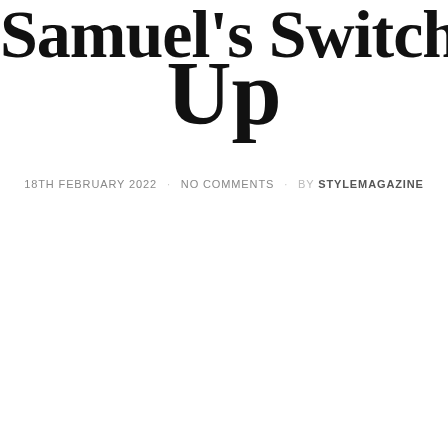Samuel's Switch Up
18TH FEBRUARY 2022 · NO COMMENTS · BY STYLEMAGAZINE